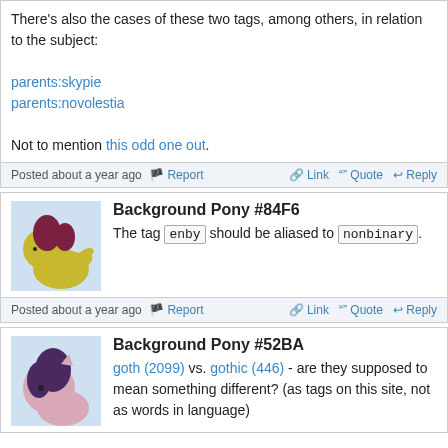There's also the cases of these two tags, among others, in relation to the subject:
parents:skypie
parents:novolestia
Not to mention this odd one out.
Posted about a year ago  Report  Link  Quote  Reply
Background Pony #84F6
The tag enby should be aliased to nonbinary.
Posted about a year ago  Report  Link  Quote  Reply
Background Pony #52BA
goth (2099) vs. gothic (446) - are they supposed to mean something different? (as tags on this site, not as words in language)